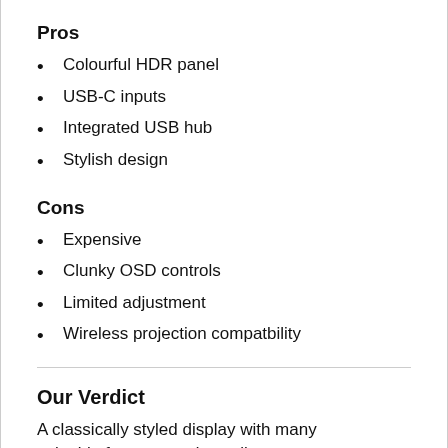Pros
Colourful HDR panel
USB-C inputs
Integrated USB hub
Stylish design
Cons
Expensive
Clunky OSD controls
Limited adjustment
Wireless projection compatbility
Our Verdict
A classically styled display with many valuable features and excellent